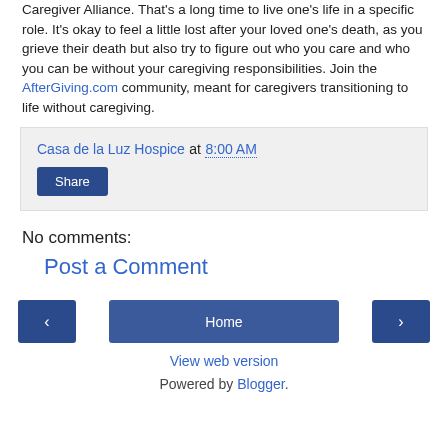Caregiver Alliance. That's a long time to live one's life in a specific role. It's okay to feel a little lost after your loved one's death, as you grieve their death but also try to figure out who you care and who you can be without your caregiving responsibilities. Join the AfterGiving.com community, meant for caregivers transitioning to life without caregiving.
Casa de la Luz Hospice at 8:00 AM
Share
No comments:
Post a Comment
‹ Home › View web version Powered by Blogger.